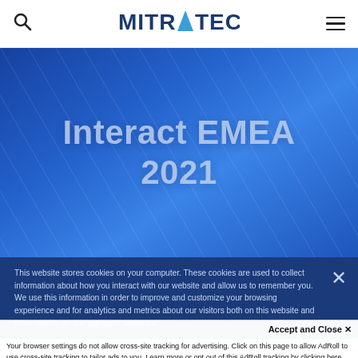[Figure (logo): Mitratech logo in header nav bar with search icon on left and hamburger menu on right]
[Figure (illustration): Blue gradient hero banner with diagonal stripe texture showing white/light blue text 'Interact EMEA 2021' centered]
This website stores cookies on your computer. These cookies are used to collect information about how you interact with our website and allow us to remember you. We use this information in order to improve and customize your browsing experience and for analytics and metrics about our visitors both on this website and other media. To find out more about the cookies we use, see our
Accept and Close ✕
Your browser settings do not allow cross-site tracking for advertising. Click on this page to allow AdRoll to use cross-site tracking to tailor ads to you. Learn more or opt out of this AdRoll tracking by clicking here. This message only appears once.